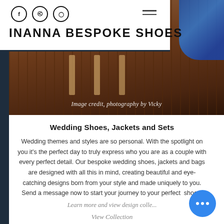INANNA BESPOKE SHOES
[Figure (photo): Close-up photo of shoes on a wooden surface with image credit text 'Image credit, photography by Vicky']
Wedding Shoes, Jackets and Sets
Wedding themes and styles are so personal. With the spotlight on you it's the perfect day to truly express who you are as a couple with every perfect detail. Our bespoke wedding shoes, jackets and bags are designed with all this in mind, creating beautiful and eye-catching designs born from your style and made uniquely to you. Send a message now to start your journey to your perfect shoes.
Learn more and view design colle...
View Collection